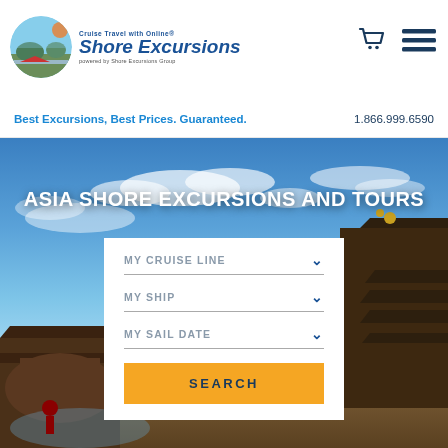[Figure (logo): Shore Excursions logo with circular scenic image and italic blue text]
[Figure (illustration): Shopping cart icon and hamburger menu icon in dark blue]
Best Excursions, Best Prices. Guaranteed.
1.866.999.6590
[Figure (photo): Background photo of Asian temple (Bali) with blue sky and clouds]
ASIA SHORE EXCURSIONS AND TOURS
MY CRUISE LINE
MY SHIP
MY SAIL DATE
SEARCH